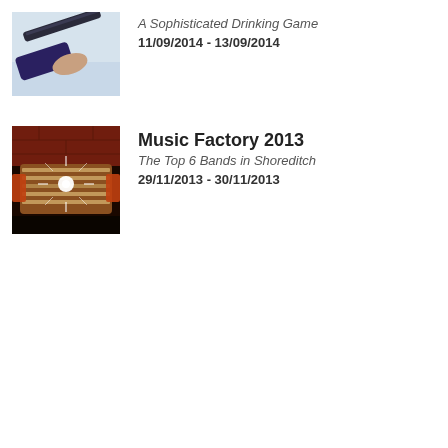[Figure (photo): Close-up photo of a shotgun being held, aimed upward against a light sky background]
A Sophisticated Drinking Game
11/09/2014 - 13/09/2014
[Figure (photo): Photo of a vintage car front grille with chrome details and dramatic starburst light effect, reddish-brown tones]
Music Factory 2013
The Top 6 Bands in Shoreditch
29/11/2013 - 30/11/2013